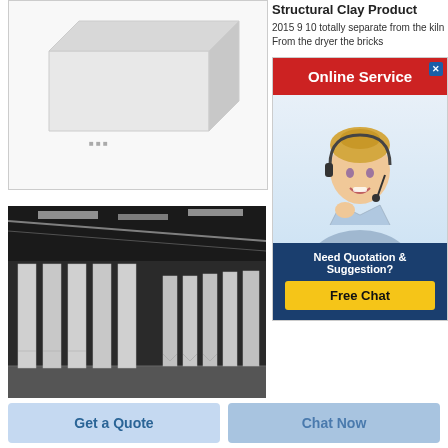Structural Clay Product
2015 9 10 totally separate from the kiln From the dryer the bricks
[Figure (photo): White rectangular block product on white background]
[Figure (photo): Large white clay panels standing upright in an industrial factory facility]
[Figure (infographic): Online service banner with red background, customer service agent photo, and Free Chat button. Text: Online Service, Need Quotation & Suggestion?, Free Chat]
Get a Quote
Chat Now